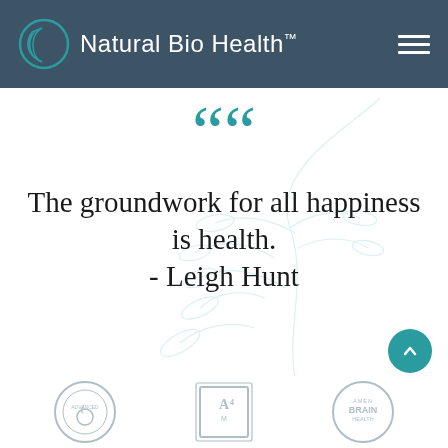Natural Bio Health™
[Figure (logo): Natural Bio Health logo with teal crescent moon/circle icon and white text on dark blue-grey header bar with hamburger menu icon]
““ The groundwork for all happiness is health. - Leigh Hunt
[Figure (illustration): Decorative botanical background with light teal leaf/branch illustration]
Get Started button with circle arrow icon